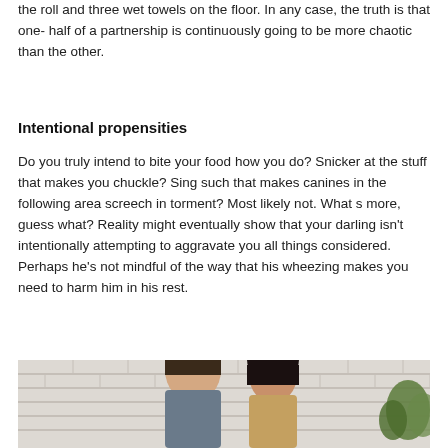the roll and three wet towels on the floor. In any case, the truth is that one- half of a partnership is continuously going to be more chaotic than the other.
Intentional propensities
Do you truly intend to bite your food how you do? Snicker at the stuff that makes you chuckle? Sing such that makes canines in the following area screech in torment? Most likely not. What s more, guess what? Reality might eventually show that your darling isn’ t intentionally attempting to aggravate you all things considered. Perhaps he’ s not mindful of the way that his wheezing makes you need to harm him in his rest.
[Figure (photo): Photo of a couple, man and woman, sitting together in front of a white brick wall with a plant visible on the right.]